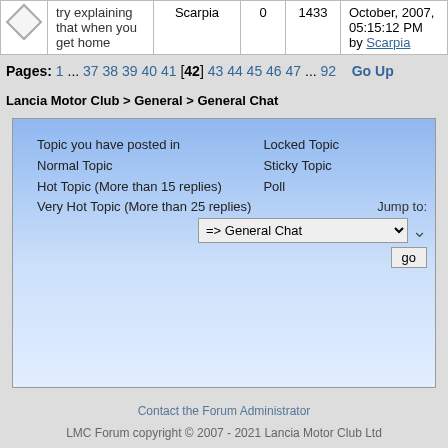|  | Topic | Author | Replies | Views | Last Post |
| --- | --- | --- | --- | --- | --- |
|  | try explaining that when you get home | Scarpia | 0 | 1433 | October, 2007, 05:15:12 PM by Scarpia |
Pages: 1 ... 37 38 39 40 41 [42] 43 44 45 46 47 ... 92  Go Up
Lancia Motor Club > General > General Chat
Topic you have posted in  Normal Topic  Hot Topic (More than 15 replies)  Very Hot Topic (More than 25 replies)  Locked Topic  Sticky Topic  Poll
Jump to: => General Chat  go
Contact the Forum Administrator
LMC Forum copyright © 2007 - 2021 Lancia Motor Club Ltd
Powered by SMF 1.1.20 | SMF © 2006-2011, Simple Machines
Page created in 0.048 seconds with 15 queries.